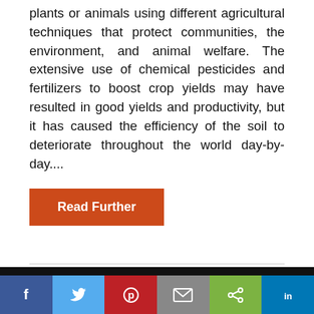plants or animals using different agricultural techniques that protect communities, the environment, and animal welfare. The extensive use of chemical pesticides and fertilizers to boost crop yields may have resulted in good yields and productivity, but it has caused the efficiency of the soil to deteriorate throughout the world day-by-day....
Read Further
Like most websites we use cookies. This is to ensure that we give you the best experience possible. Continuing to use Plantwise Blog means you agree to our use of cookies. If you would like to, you can learn more about the cookies we use here.
Facebook Twitter Pinterest Email Share LinkedIn social share bar